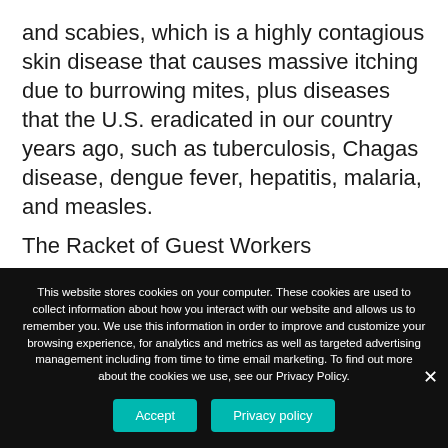and scabies, which is a highly contagious skin disease that causes massive itching due to burrowing mites, plus diseases that the U.S. eradicated in our country years ago, such as tuberculosis, Chagas disease, dengue fever, hepatitis, malaria, and measles.
The Racket of Guest Workers
Tom Donohue, U.S. Chamber of Commerce
This website stores cookies on your computer. These cookies are used to collect information about how you interact with our website and allows us to remember you. We use this information in order to improve and customize your browsing experience, for analytics and metrics as well as targeted advertising management including from time to time email marketing. To find out more about the cookies we use, see our Privacy Policy.